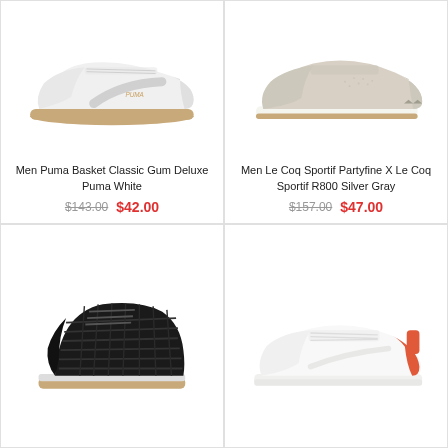[Figure (photo): Men Puma Basket Classic Gum Deluxe white sneaker with gum sole, side view on white background]
Men Puma Basket Classic Gum Deluxe Puma White
$143.00  $42.00
[Figure (photo): Men Le Coq Sportif Partyfine X Le Coq Sportif R800 Silver Gray sneaker with gum sole, side view on white background]
Men Le Coq Sportif Partyfine X Le Coq Sportif R800 Silver Gray
$157.00  $47.00
[Figure (photo): Black high-top sneaker with woven/textured upper, side view on white background]
[Figure (photo): White sneaker with orange/red heel tab, side view on white background]